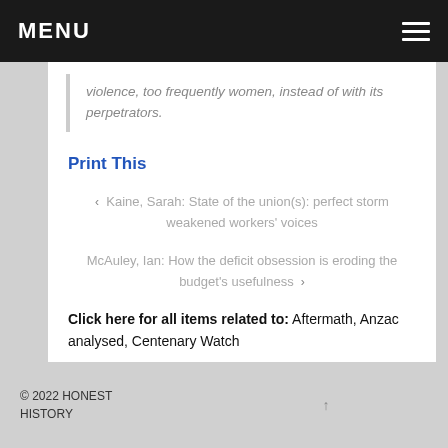MENU
violence, too frequently women, instead of with its perpetrators.
Print This
‹ Kaine, Sarah: State of the union(s): perfect storm weakened workers' voices
McAuley, Ian: How the deficit obsession is eroding the budget's usefulness ›
Click here for all items related to: Aftermath, Anzac analysed, Centenary Watch
© 2022 HONEST HISTORY